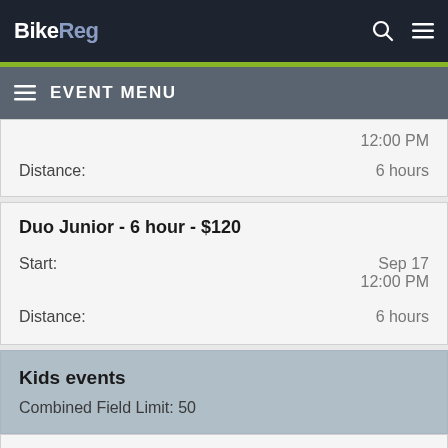BikeReg
EVENT MENU
Distance: 6 hours
12:00 PM
Duo Junior - 6 hour - $120
Start: Sep 17 12:00 PM
Distance: 6 hours
Kids events
Combined Field Limit: 50
Kids MTB "race" - $10
Start: Sep 17